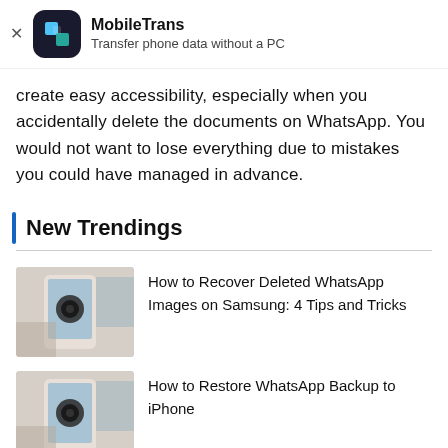[Figure (logo): MobileTrans app banner with icon, app name 'MobileTrans', and tagline 'Transfer phone data without a PC', with a close (X) button on the left]
create easy accessibility, especially when you accidentally delete the documents on WhatsApp. You would not want to lose everything due to mistakes you could have managed in advance.
New Trendings
[Figure (photo): Phone held in hand showing WhatsApp interface]
How to Recover Deleted WhatsApp Images on Samsung: 4 Tips and Tricks
[Figure (photo): Phone held in hand showing WhatsApp interface]
How to Restore WhatsApp Backup to iPhone
[Figure (photo): Phone held in hand showing WhatsApp interface]
Top Ways to Recover Deleted Photos from WhatsApp on Samsung